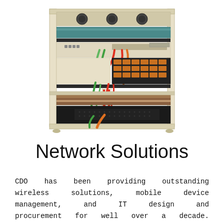[Figure (illustration): Illustration of a network server rack with multiple components including fans at the top, network switches, patch panels, cabling (red, green, orange wires), disk arrays, and rack-mounted equipment on a beige/cream colored server rack frame.]
Network Solutions
CDO has been providing outstanding wireless solutions, mobile device management, and IT design and procurement for well over a decade. Whether you are just updating your